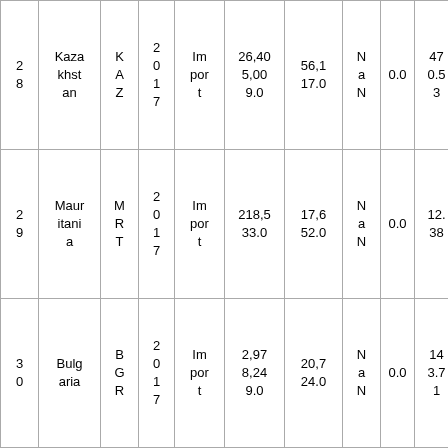| 28 | Kazakhstan | KAZ | 2017 | Import | 26,405,009.0 | 56,117.0 | NaN | 0.0 | 470.53 |
| 29 | Mauritania | MRT | 2017 | Import | 218,533.0 | 17,652.0 | NaN | 0.0 | 12.38 |
| 30 | Bulgaria | BGR | 2017 | Import | 2,978,249.0 | 20,724.0 | NaN | 0.0 | 143.71 |